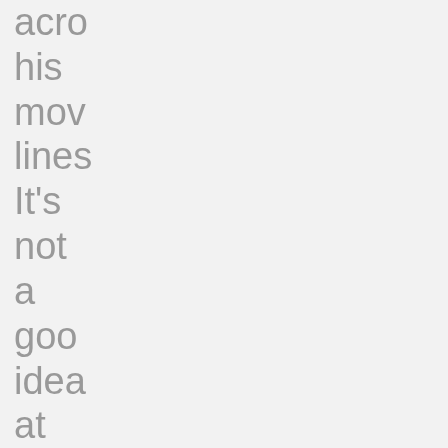acro
his
mov
lines
It's
not
a
goo
idea
at
a
high
prot
club
used
by